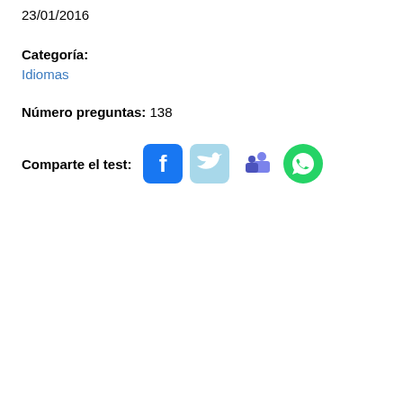23/01/2016
Categoría: Idiomas
Número preguntas: 138
[Figure (infographic): Social sharing icons: Facebook (blue rounded square with white F), Twitter (light blue rounded square with white bird), Microsoft Teams (purple icon), WhatsApp (green circle with white phone handset)]